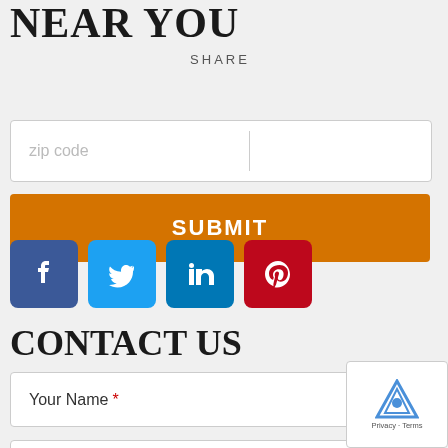NEAR YOU
SHARE
[Figure (screenshot): Zip code input field with a vertical divider inside a white rounded box]
[Figure (screenshot): Orange SUBMIT button]
[Figure (screenshot): Social media icons: Facebook (blue), Twitter (light blue), LinkedIn (teal-blue), Pinterest (red)]
CONTACT US
[Figure (screenshot): Form field: Your Name *]
[Figure (screenshot): Form field: Your Phone Number *]
[Figure (screenshot): reCAPTCHA widget (partially visible) with Privacy - Terms text]
[Figure (screenshot): Form field: Your Email *]